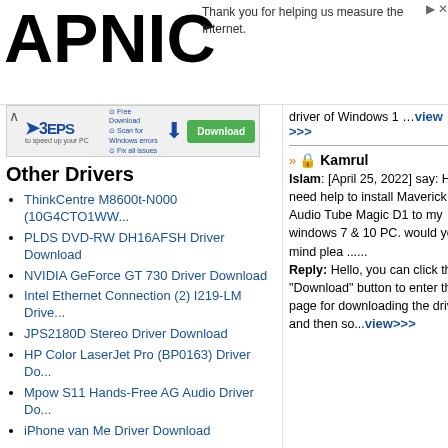[Figure (logo): APNIC logo in large bold black text]
Thank you for helping us measure the Internet.
[Figure (screenshot): Advertisement banner: 3 steps to speed up your PC with download button]
driver of Windows 1 …view >>>
Other Drivers
ThinkCentre M8600t-N000 (10G4CTO1WW...
PLDS DVD-RW DH16AFSH Driver Download
NVIDIA GeForce GT 730 Driver Download
Intel Ethernet Connection (2) I219-LM Drive...
JPS2180D Stereo Driver Download
HP Color LaserJet Pro (BP0163) Driver Do...
Mpow S11 Hands-Free AG Audio Driver Do...
iPhone van Me Driver Download
Leave a Reply
If you have any questions, please leave
Kamrul Islam: [April 25, 2022] say: Hi, I need help to install Maverick Audio Tube Magic D1 to my windows 7 & 10 PC. would you mind plea ...... Reply: Hello, you can click the "Download" button to enter the page for downloading the driver, and then so... view>>>